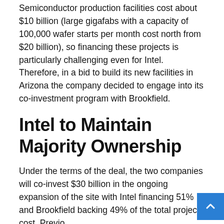Semiconductor production facilities cost about $10 billion (large gigafabs with a capacity of 100,000 wafer starts per month cost north from $20 billion), so financing these projects is particularly challenging even for Intel. Therefore, in a bid to build its new facilities in Arizona the company decided to engage into its co-investment program with Brookfield.
Intel to Maintain Majority Ownership
Under the terms of the deal, the two companies will co-invest $30 billion in the ongoing expansion of the site with Intel financing 51% and Brookfield backing 49% of the total project cost. Previously, Intel planned to invest $20 billion in its Fab 52 and Fab 62, but together with Brookfield the sum has increased to $30 billion. In addition to getting